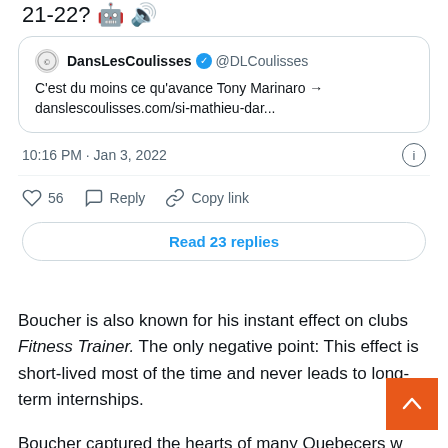21-22? 🤖 🔊
[Figure (screenshot): Embedded tweet from @DLCoulisses (DansLesCoulisses) with blue verified checkmark. Text: 'C'est du moins ce qu'avance Tony Marinaro → danslescoulisses.com/si-mathieu-dar...' Posted 10:16 PM · Jan 3, 2022. 56 likes. Actions: Reply, Copy link. Button: Read 23 replies.]
Boucher is also known for his instant effect on clubs Fitness Trainer. The only negative point: This effect is short-lived most of the time and never leads to long-term internships.
Boucher captured the hearts of many Quebecers with his appearance on RDS. He often does meticulous